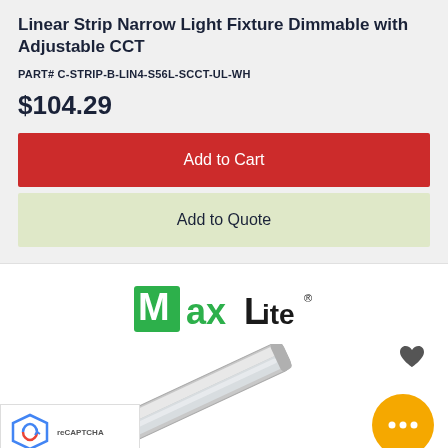Linear Strip Narrow Light Fixture Dimmable with Adjustable CCT
PART# C-STRIP-B-LIN4-S56L-SCCT-UL-WH
$104.29
Add to Cart
Add to Quote
[Figure (logo): MaxLite brand logo in green and black]
[Figure (photo): Linear strip light fixture product photo, elongated silver/white housing at an angle]